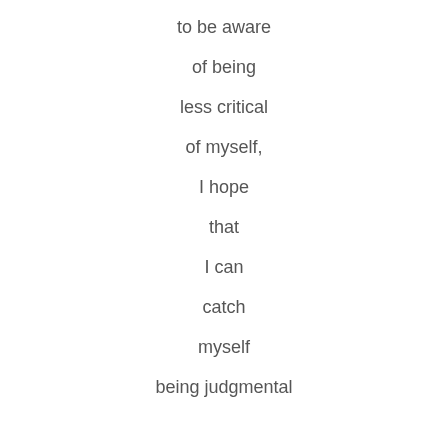to be aware

of being

less critical

of myself,

I hope

that

I can

catch

myself

being judgmental